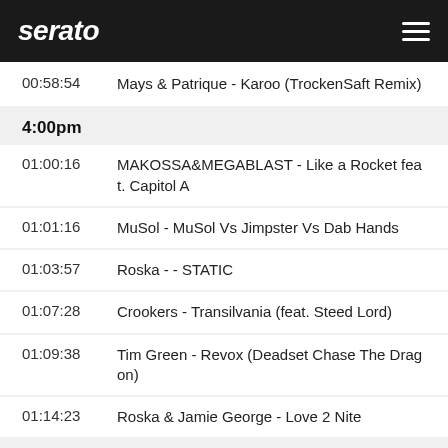serato
00:58:54   Mays & Patrique - Karoo (TrockenSaft Remix)
4:00pm
01:00:16   MAKOSSA&MEGABLAST - Like a Rocket feat. Capitol A
01:01:16   MuSol - MuSol Vs Jimpster Vs Dab Hands
01:03:57   Roska - - STATIC
01:07:28   Crookers - Transilvania (feat. Steed Lord)
01:09:38   Tim Green - Revox (Deadset Chase The Dragon)
01:14:23   Roska & Jamie George - Love 2 Nite